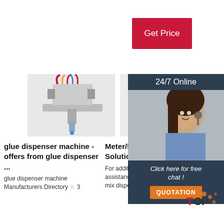[Figure (other): Red 'Get Price' button in top right]
[Figure (photo): Industrial glue dispenser machine with tubes and nozzles]
[Figure (photo): Metal meter/mix dispensing nozzle tool]
[Figure (photo): 24/7 Online customer service representative with headset, with chat panel overlay]
glue dispenser machine - offers from glue dispenser ...
glue dispenser machine Manufacturers Directory ☆ 3
Meter/Mix Dispensing Solutions
For additional information or assistance with our meter mix dispensing equipment or
ELANTAS PDG CONAPOXY FR-1 Encapsulant
ELANTAS PDG CONAPOXY 1830 Epoxy is a two component potting,